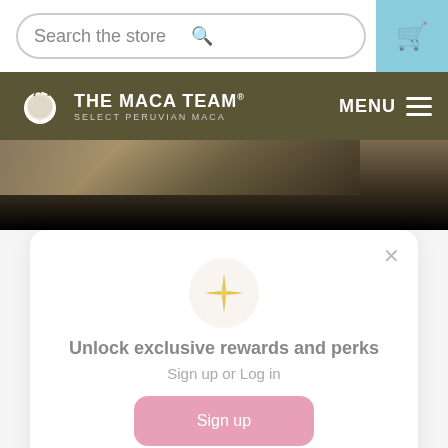Search the store
[Figure (screenshot): The Maca Team logo with navigation bar showing MENU button]
[Figure (photo): Blurred hero image strip transitioning to black]
Unlock exclusive rewards and perks
Sign up or Log in
Sign up
Already have an account? Sign in
evidence as well as stories from some of our amazing